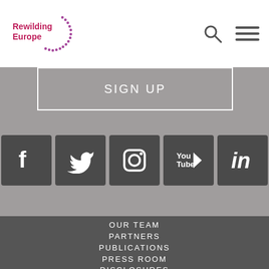Rewilding Europe
SIGN UP
[Figure (logo): Row of five social media icons: Facebook, Twitter, Instagram, YouTube, LinkedIn — white icons on dark grey square backgrounds]
OUR TEAM
PARTNERS
PUBLICATIONS
PRESS ROOM
DISCLOSURES
COMPLAINTS